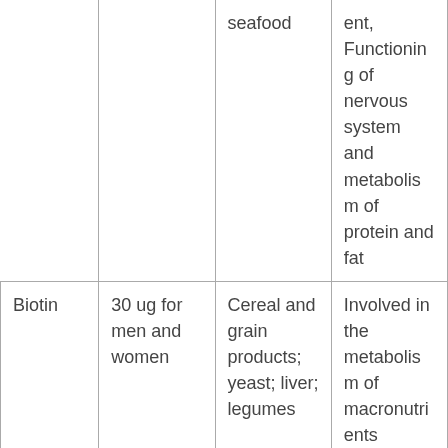|  |  | seafood | ent, Functioning of nervous system and metabolism of protein and fat |
| Biotin | 30 ug for men and women | Cereal and grain products; yeast; liver; legumes | Involved in the metabolism of macronutrients |